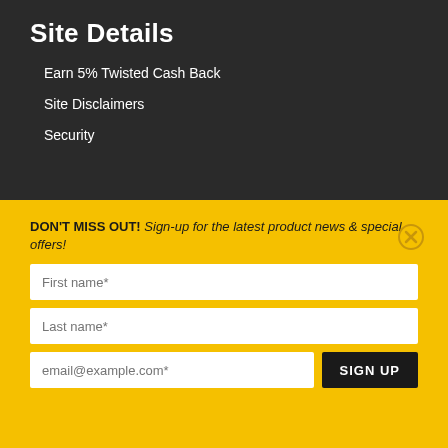Site Details
Earn 5% Twisted Cash Back
Site Disclaimers
Security
DON'T MISS OUT! Sign-up for the latest product news & special offers!
[Figure (screenshot): Sign-up form with First name, Last name, and email fields plus a SIGN UP button]